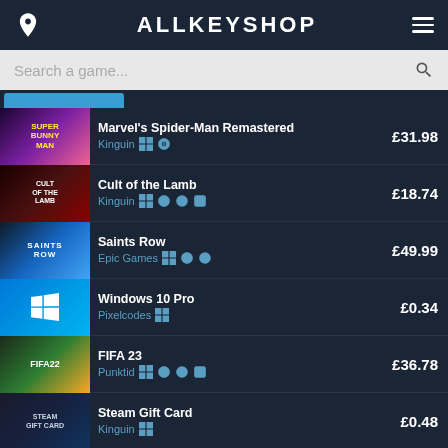ALLKEYSHOP
Search a game...
Marvel's Spider-Man Remastered | Kinguin | £31.98
Cult of the Lamb | Kinguin | £18.74
Saints Row | Epic Games | £49.99
Windows 10 Pro | Pixelcodes | £0.34
FIFA 23 | Punktid | £36.78
Steam Gift Card | Kinguin | £0.48
Red Dead Redemption 2 | HRK | £0
Elden Ring